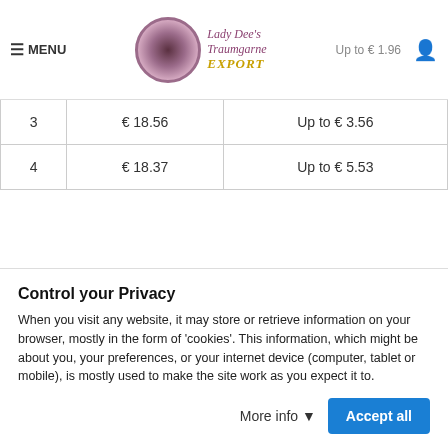MENU | Lady Dee's Traumgarne EXPORT | Up to € 1.96
| 3 | € 18.56 | Up to € 3.56 |
| 4 | € 18.37 | Up to € 5.53 |
MORE INFO
Lady Dee's - gradient
Control your Privacy
When you visit any website, it may store or retrieve information on your browser, mostly in the form of 'cookies'. This information, which might be about you, your preferences, or your internet device (computer, tablet or mobile), is mostly used to make the site work as you expect it to.
More info | Accept all